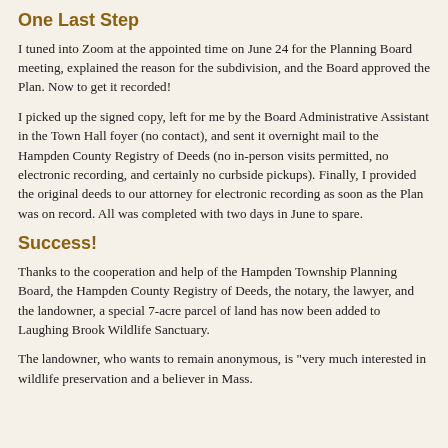One Last Step
I tuned into Zoom at the appointed time on June 24 for the Planning Board meeting, explained the reason for the subdivision, and the Board approved the Plan. Now to get it recorded!
I picked up the signed copy, left for me by the Board Administrative Assistant in the Town Hall foyer (no contact), and sent it overnight mail to the Hampden County Registry of Deeds (no in-person visits permitted, no electronic recording, and certainly no curbside pickups). Finally, I provided the original deeds to our attorney for electronic recording as soon as the Plan was on record. All was completed with two days in June to spare.
Success!
Thanks to the cooperation and help of the Hampden Township Planning Board, the Hampden County Registry of Deeds, the notary, the lawyer, and the landowner, a special 7-acre parcel of land has now been added to Laughing Brook Wildlife Sanctuary.
The landowner, who wants to remain anonymous, is "very much interested in wildlife preservation and a believer in Mass.